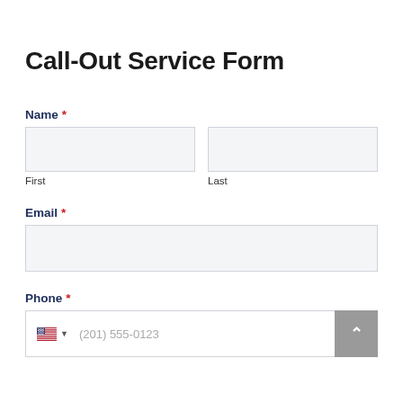Call-Out Service Form
Name *
First
Last
Email *
Phone *
(201) 555-0123